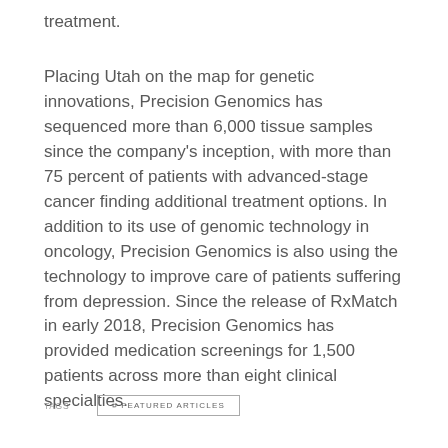treatment.
Placing Utah on the map for genetic innovations, Precision Genomics has sequenced more than 6,000 tissue samples since the company's inception, with more than 75 percent of patients with advanced-stage cancer finding additional treatment options. In addition to its use of genomic technology in oncology, Precision Genomics is also using the technology to improve care of patients suffering from depression. Since the release of RxMatch in early 2018, Precision Genomics has provided medication screenings for 1,500 patients across more than eight clinical specialties.
TAGS   # FEATURED ARTICLES